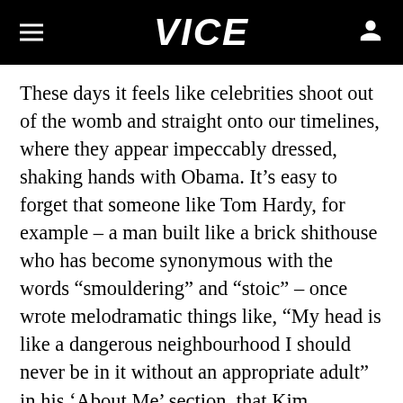VICE
These days it feels like celebrities shoot out of the womb and straight onto our timelines, where they appear impeccably dressed, shaking hands with Obama. It’s easy to forget that someone like Tom Hardy, for example – a man built like a brick shithouse who has become synonymous with the words “smouldering” and “stoic” – once wrote melodramatic things like, “My head is like a dangerous neighbourhood I should never be in it without an appropriate adult” in his ‘About Me’ section, that Kim Kardashian took shit selfies, and that highly respected genre-spanning singer-songwriter